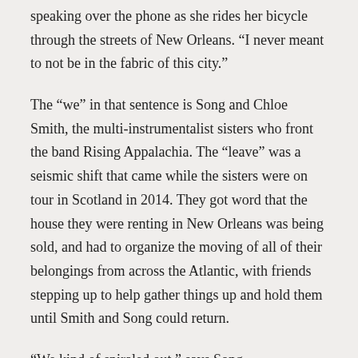speaking over the phone as she rides her bicycle through the streets of New Orleans. “I never meant to not be in the fabric of this city.”
The “we” in that sentence is Song and Chloe Smith, the multi-instrumentalist sisters who front the band Rising Appalachia. The “leave” was a seismic shift that came while the sisters were on tour in Scotland in 2014. They got word that the house they were renting in New Orleans was being sold, and had to organize the moving of all of their belongings from across the Atlantic, with friends stepping up to help gather things up and hold them until Smith and Song could return.
“We kind of spiraled out,” says Song.
T…